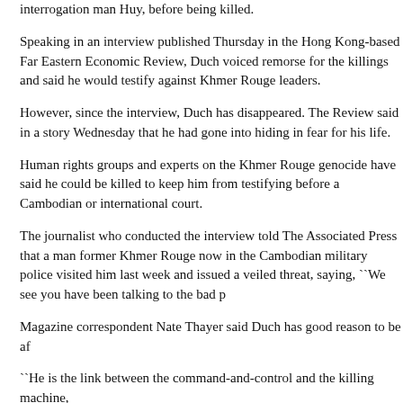interrogation man Huy, before being killed.
Speaking in an interview published Thursday in the Hong Kong-based Far Eastern Economic Review, Duch voiced remorse for the killings and said he would testify against Khmer Rouge leaders.
However, since the interview, Duch has disappeared. The Review said in a story Wednesday that he had gone into hiding in fear for his life.
Human rights groups and experts on the Khmer Rouge genocide have said he could be killed to keep him from testifying before a Cambodian or international court.
The journalist who conducted the interview told The Associated Press that a man former Khmer Rouge now in the Cambodian military police visited him last week and issued a veiled threat, saying, ``We see you have been talking to the bad people.''
Magazine correspondent Nate Thayer said Duch has good reason to be afraid.
``He is the link between the command-and-control and the killing machine,'' he said. ``I'm sure there are a lot of people nervous that he will name them.''
In the interview with Duch, the former commandant said prisoners were killed like chickens.''
``Usually, we slit their throats,'' he said, drawing his finger across his neck.
The Khmer Rouge seized power in 1975 and transformed the country into a vast labor camp, causing the death of an estimated 1.7 million people from overwork, famine and execution. They were toppled in 1979 by a Vietnamese invasion.
The government has given most Khmer Rouge leaders de facto amnesia...